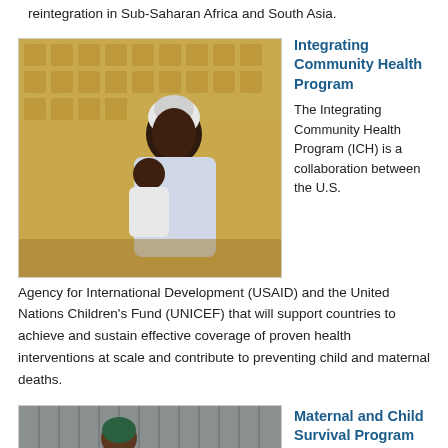reintegration in Sub-Saharan Africa and South Asia.
[Figure (photo): A woman holding a baby in front of a decorative wall, likely in Sub-Saharan Africa.]
Integrating Community Health Program
The Integrating Community Health Program (ICH) is a collaboration between the U.S. Agency for International Development (USAID) and the United Nations Children's Fund (UNICEF) that will support countries to achieve and sustain effective coverage of proven health interventions at scale and contribute to preventing child and maternal deaths.
[Figure (photo): A woman with a baby in what appears to be a doorway or corridor, likely in South Asia.]
Maternal and Child Survival Program (MCSP)